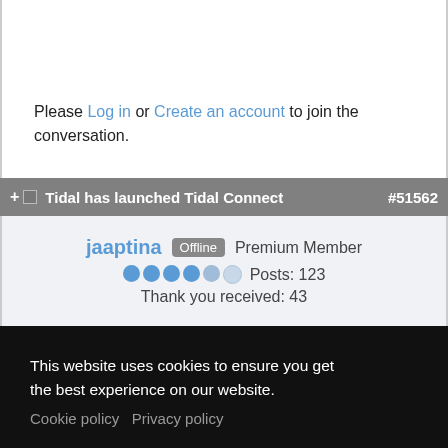Please Log in or Create an account to join the conversation.
Tidal has launched Tidal Connect #51562
jaaptina Offline Premium Member Posts: 123 Thank you received: 43
This website uses cookies to ensure you get the best experience on our website. Cookie policy  Privacy policy
Got it!